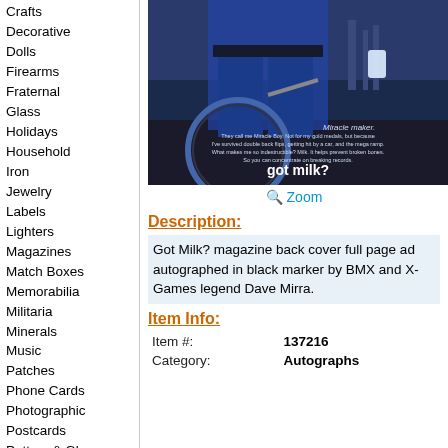Crafts
Decorative
Dolls
Firearms
Fraternal
Glass
Holidays
Household
Iron
Jewelry
Labels
Lighters
Magazines
Match Boxes
Memorabilia
Militaria
Minerals
Music
Patches
Phone Cards
Photographic
Postcards
Pottery & Glass
Shells
Space & Fantasy
Sports
Stamps
Stones
Tea bags
Toys
[Figure (photo): Got Milk? magazine back cover full page ad featuring BMX rider Dave Mirra with bicycle, got milk? logo visible]
Zoom
Description:
Got Milk? magazine back cover full page ad autographed in black marker by BMX and X-Games legend Dave Mirra.
Item Info:
| Item #: | 137216 |
| Category: | Autographs |